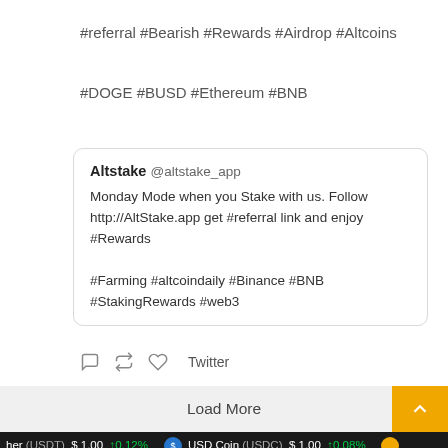#referral #Bearish #Rewards #Airdrop #Altcoins
#DOGE #BUSD #Ethereum #BNB
Altstake @altstake_app
Monday Mode when you Stake with us. Follow http://AltStake.app get #referral link and enjoy #Rewards

#Farming #altcoindaily #Binance #BNB #StakingRewards #web3
Twitter
Load More
her (USDT) $ 1.00 ↑0.12% USD Coin (USDC) $ 1.00 ↑0.08%